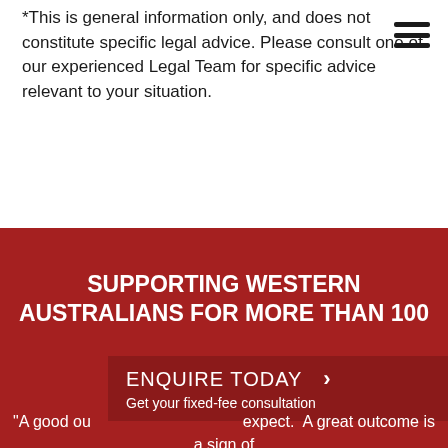*This is general information only, and does not constitute specific legal advice. Please consult one of our experienced Legal Team for specific advice relevant to your situation.
SUPPORTING WESTERN AUSTRALIANS FOR MORE THAN 100
ENQUIRE TODAY > Get your fixed-fee consultation
"A good ou expect.  A great outcome is a sign of a company which does the very best